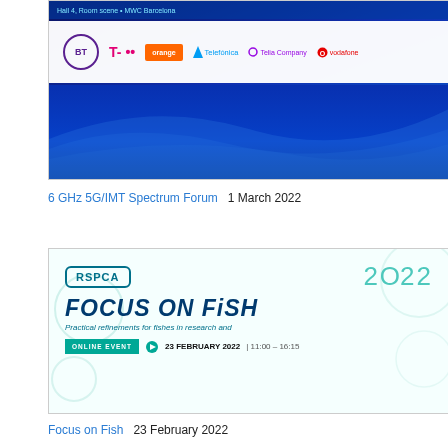[Figure (screenshot): Top banner image showing telecom company logos (BT, T-Mobile, dot dot, orange, Telefonica, Telia Company, Vodafone) on a blue gradient background with digital wave pattern. Related to 6 GHz 5G/IMT Spectrum Forum event.]
6 GHz 5G/IMT Spectrum Forum    1 March 2022
[Figure (screenshot): RSPCA Focus on Fish 2022 event banner. Shows RSPCA logo, year 2022, title FOCUS ON FISH in bold dark blue, subtitle 'Practical refinements for fishes in research and', online event badge in teal, date 23 FEBRUARY 2022, time 11:00 - 16:15. Light background with circle decorations.]
Focus on Fish    23 February 2022
[Figure (screenshot): DIGITALEUROPE event banner showing the organization logo text in white on dark blue gradient background with a teal triangle shape partially visible at the bottom.]